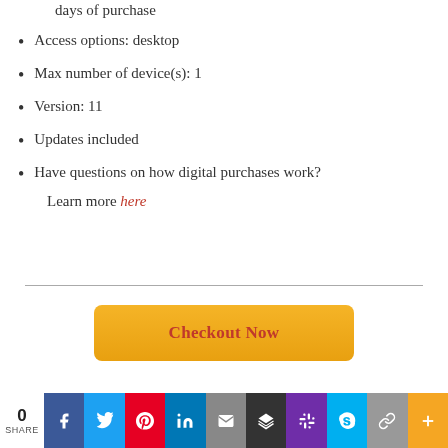days of purchase
Access options: desktop
Max number of device(s): 1
Version: 11
Updates included
Have questions on how digital purchases work? Learn more here
[Figure (other): Checkout Now button (orange/yellow gradient button with red text)]
[Figure (other): Social share bar at bottom: 0 SHARE count, Facebook, Twitter, Pinterest, LinkedIn, Email, Buffer, Slack, Skype, Chain/copy, Plus buttons]